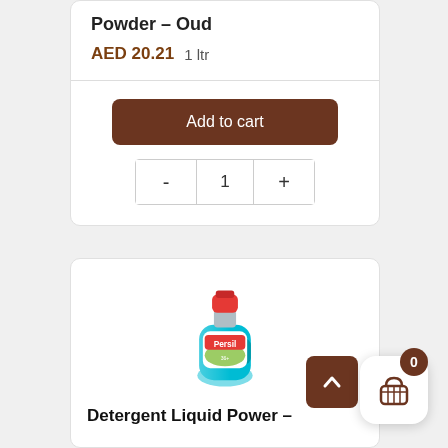Powder – Oud
AED 20.21  1 ltr
Add to cart
- 1 +
[Figure (photo): Persil Detergent Liquid Power bottle in turquoise/teal color with red cap]
Detergent Liquid Power –